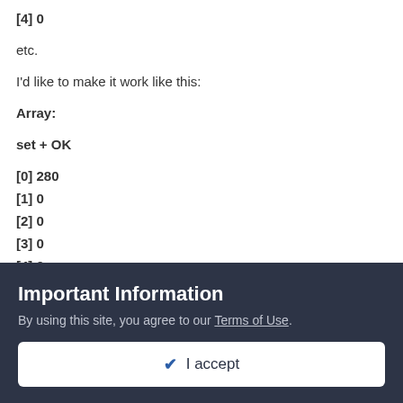[4] 0
etc.
I'd like to make it work like this:
Array:
set + OK
[0] 280
[1] 0
[2] 0
[3] 0
[4] 0
set + OK
[0] 280
Important Information
By using this site, you agree to our Terms of Use.
✔ I accept